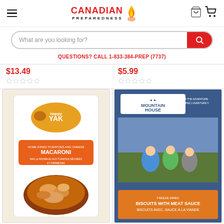Canadian Preparedness (logo with flame), hamburger menu, cart icon
What are you looking for? (search bar)
QUESTIONS? CALL 1-833-384-PREP (7737)
$13.49
$5.99
[Figure (photo): Happy Yak Macaroni freeze-dried meal product package]
[Figure (photo): Mountain House freeze-dried meal product package, blue bag with people on front]